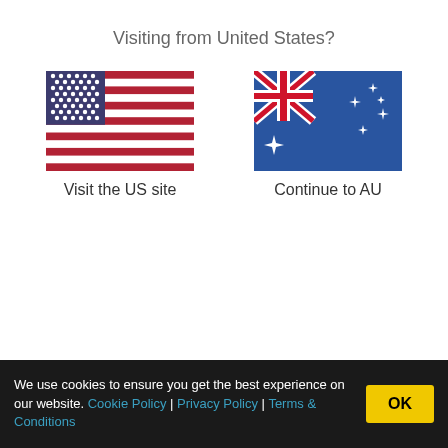Visiting from United States?
[Figure (illustration): US flag and Australian flag side by side with labels 'Visit the US site' and 'Continue to AU']
| Country | Shipping Cost | Delivery Time |  |
| --- | --- | --- | --- |
| France | Orders $168.95 or more FREE | Approx 4-6 business days |  |
| Fujairah (UAE) | $49.49 | Approx 4-7 business days |  |
| Germany | $13.57 Orders $168.95 | Approx 4-6 |  |
We use cookies to ensure you get the best experience on our website. Cookie Policy | Privacy Policy | Terms & Conditions